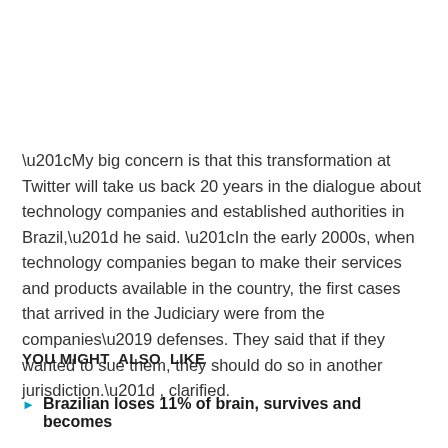“My big concern is that this transformation at Twitter will take us back 20 years in the dialogue about technology companies and established authorities in Brazil,” he said. “In the early 2000s, when technology companies began to make their services and products available in the country, the first cases that arrived in the Judiciary were from the companies’ defenses. They said that if they wanted to sue them, they should do so in another jurisdiction.” , clarified.
YOU MIGHT  ALSO  LIKE
Brazilian loses 11% of brain, survives and becomes